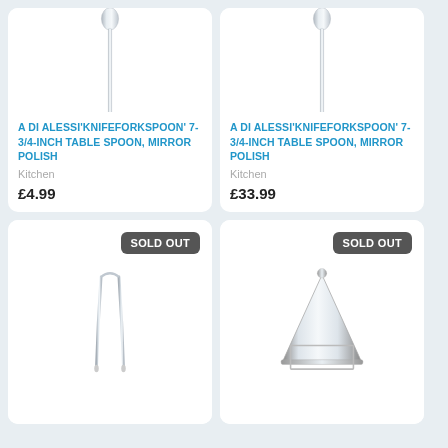[Figure (photo): Silver table spoon, mirror polish, vertical orientation]
A DI ALESSI'KNIFEFORKSPOON' 7-3/4-INCH TABLE SPOON, MIRROR POLISH
Kitchen
£4.99
[Figure (photo): Silver table spoon, mirror polish, vertical orientation]
A DI ALESSI'KNIFEFORKSPOON' 7-3/4-INCH TABLE SPOON, MIRROR POLISH
Kitchen
£33.99
[Figure (photo): Silver kitchen tongs, mirror polish, with SOLD OUT badge]
[Figure (photo): Conical stainless steel kettle/coffee maker with ball finial, SOLD OUT badge]